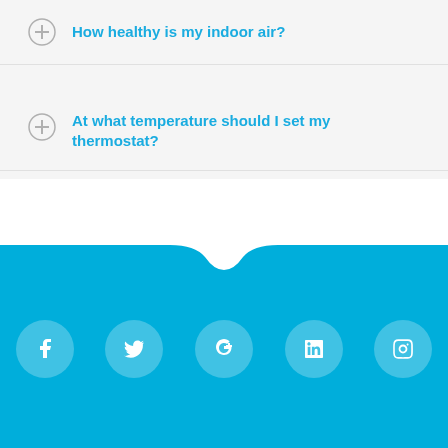How healthy is my indoor air?
At what temperature should I set my thermostat?
[Figure (infographic): Blue footer section with wave-shaped top edge and five social media icon circles: Facebook, Twitter, Google+, LinkedIn, Instagram]